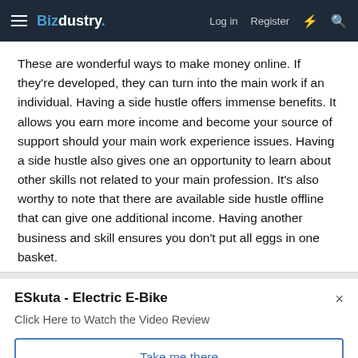Bizdustry. | Log in | Register
These are wonderful ways to make money online. If they're developed, they can turn into the main work if an individual. Having a side hustle offers immense benefits. It allows you earn more income and become your source of support should your main work experience issues. Having a side hustle also gives one an opportunity to learn about other skills not related to your main profession. It's also worthy to note that there are available side hustle offline that can give one additional income. Having another business and skill ensures you don't put all eggs in one basket.
ESkuta - Electric E-Bike
Click Here to Watch the Video Review
Take me there